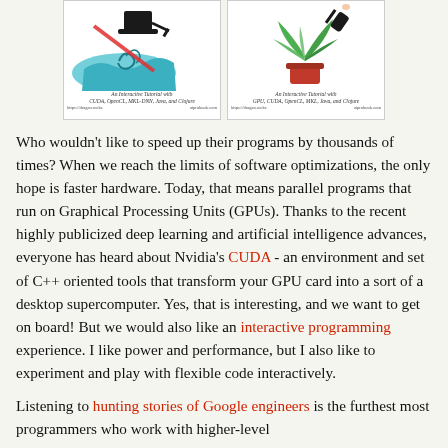[Figure (illustration): Two book covers side by side. Left book: magician with top hat and wand over swirling waves, subtitle 'An Interactive Tutorial with CUDA, OpenCL, MKL-DNN, Java, and Clojure'. Right book: hand with wand and a plant in pot, subtitle 'An Interactive Tutorial with GPU, CUDA, OpenCL, MKL, Java, and Clojure'.]
Who wouldn't like to speed up their programs by thousands of times? When we reach the limits of software optimizations, the only hope is faster hardware. Today, that means parallel programs that run on Graphical Processing Units (GPUs). Thanks to the recent highly publicized deep learning and artificial intelligence advances, everyone has heard about Nvidia's CUDA - an environment and set of C++ oriented tools that transform your GPU card into a sort of a desktop supercomputer. Yes, that is interesting, and we want to get on board! But we would also like an interactive programming experience. I like power and performance, but I also like to experiment and play with flexible code interactively.
Listening to hunting stories of Google engineers is the furthest most programmers who work with higher-level